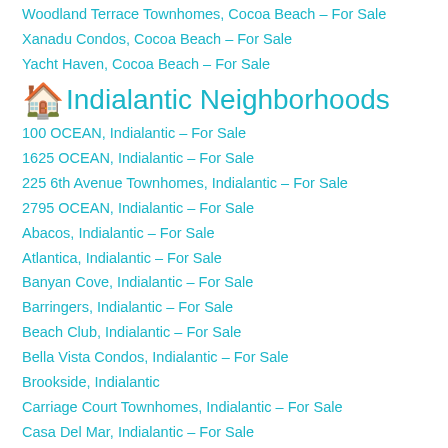Woodland Terrace Townhomes, Cocoa Beach – For Sale
Xanadu Condos, Cocoa Beach – For Sale
Yacht Haven, Cocoa Beach – For Sale
🏠 Indialantic Neighborhoods
100 OCEAN, Indialantic – For Sale
1625 OCEAN, Indialantic – For Sale
225 6th Avenue Townhomes, Indialantic – For Sale
2795 OCEAN, Indialantic – For Sale
Abacos, Indialantic – For Sale
Atlantica, Indialantic – For Sale
Banyan Cove, Indialantic – For Sale
Barringers, Indialantic – For Sale
Beach Club, Indialantic – For Sale
Bella Vista Condos, Indialantic – For Sale
Brookside, Indialantic
Carriage Court Townhomes, Indialantic – For Sale
Casa Del Mar, Indialantic – For Sale
Casa Del Sol By the Sea, Indialantic – For Sale
Casuarina Club, Indialantic – For Sale
Chalets Atlantique, Indialantic – For Sale